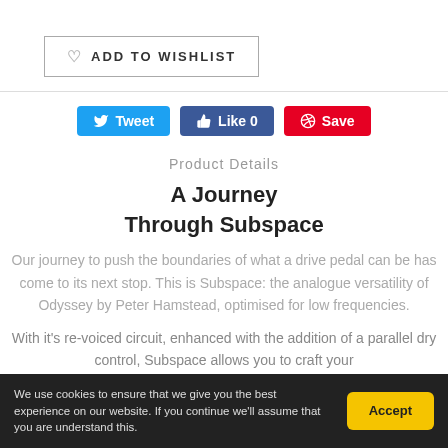ADD TO WISHLIST
[Figure (infographic): Social sharing buttons: Tweet (Twitter, blue), Like 0 (Facebook, dark blue), Save (Pinterest, red)]
Product Details
A Journey Through Subspace
Our journey to push the boundaries of what a drive pedal can be has come to its next stop. This is Subspace: the analogue versatility of Odyssey by Peter Hamstead, optimised for low frequencies.
With it's re-voiced circuit, enhanced with the addition of a parallel dry control, Subspace allows you to craft your
We use cookies to ensure that we give you the best experience on our website. If you continue we'll assume that you are understand this.